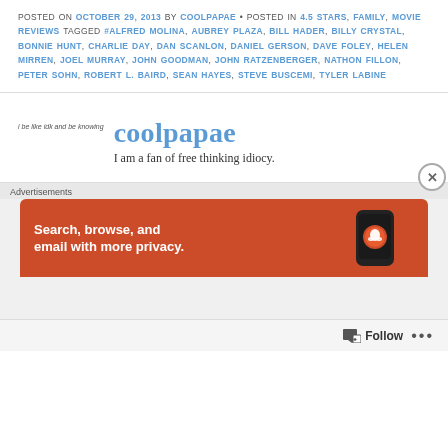POSTED ON OCTOBER 29, 2013 BY COOLPAPAE • POSTED IN 4.5 STARS, FAMILY, MOVIE REVIEWS TAGGED #ALFRED MOLINA, AUBREY PLAZA, BILL HADER, BILLY CRYSTAL, BONNIE HUNT, CHARLIE DAY, DAN SCANLON, DANIEL GERSON, DAVE FOLEY, HELEN MIRREN, JOEL MURRAY, JOHN GOODMAN, JOHN RATZENBERGER, NATHON FILLON, PETER SOHN, ROBERT L. BAIRD, SEAN HAYES, STEVE BUSCEMI, TYLER LABINE
coolpapae
i be like idk and be knowing
I am a fan of free thinking idiocy.
Advertisements
[Figure (screenshot): Advertisement banner for DuckDuckGo: orange background with phone showing duck logo, text 'Search, browse, and email with more privacy.']
Follow